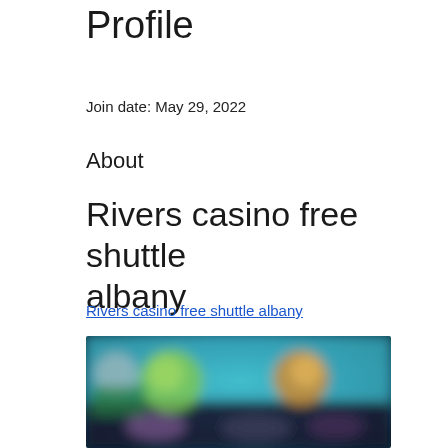Profile
Join date: May 29, 2022
About
Rivers casino free shuttle albany
Rivers casino free shuttle albany
[Figure (photo): Blurred image of a casino gaming interface or screen showing colorful graphics with teal, green, and orange hues, blurred and pixelated.]